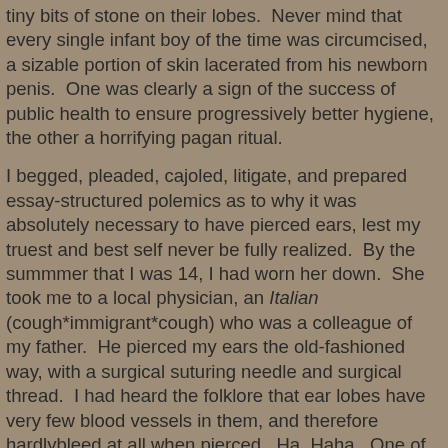tiny bits of stone on their lobes.  Never mind that every single infant boy of the time was circumcised, a sizable portion of skin lacerated from his newborn penis.  One was clearly a sign of the success of public health to ensure progressively better hygiene, the other a horrifying pagan ritual.
I begged, pleaded, cajoled, litigate, and prepared essay-structured polemics as to why it was absolutely necessary to have pierced ears, lest my truest and best self never be fully realized.  By the summmer that I was 14, I had worn her down.  She took me to a local physician, an Italian (cough*immigrant*cough) who was a colleague of my father.  He pierced my ears the old-fashioned way, with a surgical suturing needle and surgical thread.  I had heard the folklore that ear lobes have very few blood vessels in them, and therefore hardlybleed at all when pierced.  Ha. Haha.  One of my ears obeyed this rule, the other gushed forth in a truly impressive fashion.